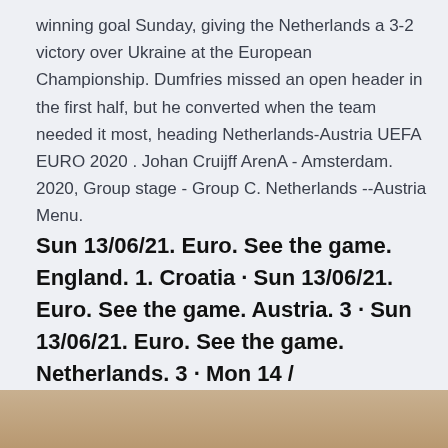winning goal Sunday, giving the Netherlands a 3-2 victory over Ukraine at the European Championship. Dumfries missed an open header in the first half, but he converted when the team needed it most, heading Netherlands-Austria UEFA EURO 2020 . Johan Cruijff ArenA - Amsterdam. 2020, Group stage - Group C. Netherlands --Austria Menu.
Sun 13/06/21. Euro. See the game. England. 1. Croatia · Sun 13/06/21. Euro. See the game. Austria. 3 · Sun 13/06/21. Euro. See the game. Netherlands. 3 · Mon 14 /
[Figure (photo): Partial image strip visible at the bottom of the page, showing warm brown/tan tones, likely a sports-related photograph cropped at the page boundary.]